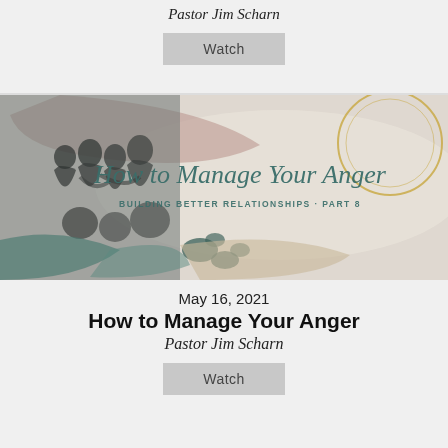Pastor Jim Scharn
Watch
[Figure (illustration): Sermon series graphic for 'How to Manage Your Anger - Building Better Relationships Part 8'. Shows silhouettes of people on the left side against a beige/neutral watercolor background with decorative blue-green and brown paint strokes. The title is written in teal script font. A gold circular line accent is in the upper right corner.]
May 16, 2021
How to Manage Your Anger
Pastor Jim Scharn
Watch